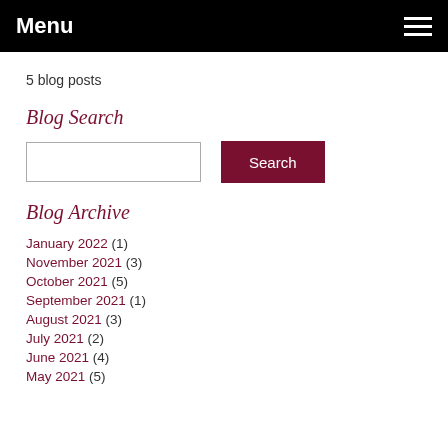Menu
5 blog posts
Blog Search
Blog Archive
January 2022 (1)
November 2021 (3)
October 2021 (5)
September 2021 (1)
August 2021 (3)
July 2021 (2)
June 2021 (4)
May 2021 (5)